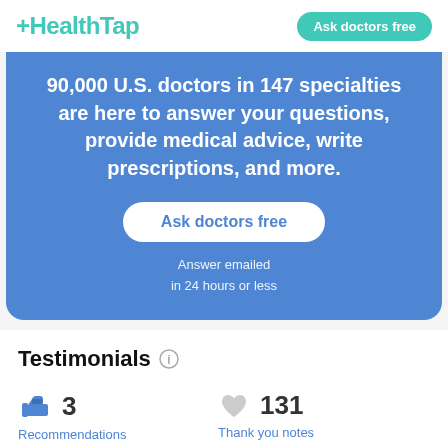HealthTap — Ask doctors free
90,000 U.S. doctors in 147 specialties are here to answer your questions, provide medical advice, write prescriptions, and more.
Ask doctors free
Answer emailed in 24 hours or less
Testimonials
3 Recommendations
131 Thank you notes